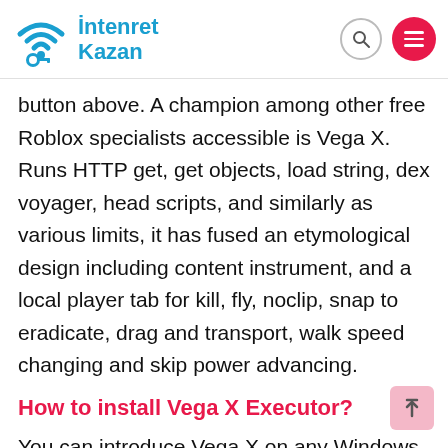İntenret Kazan
button above. A champion among other free Roblox specialists accessible is Vega X. Runs HTTP get, get objects, load string, dex voyager, head scripts, and similarly as various limits, it has fused an etymological design including content instrument, and a local player tab for kill, fly, noclip, snap to eradicate, drag and transport, walk speed changing and skip power advancing.
How to install Vega X Executor?
You can introduce Vega X on any Windows PC. At its middle, Vega X is a gadget or programming unequivocally planned to run scripts made in any